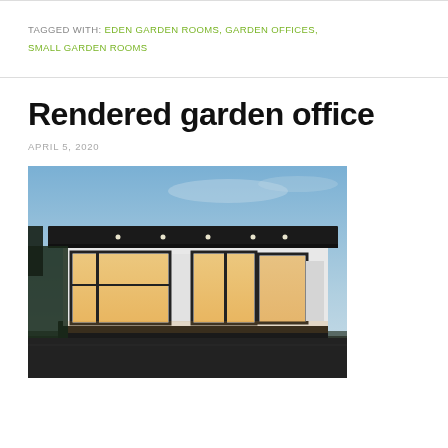TAGGED WITH: EDEN GARDEN ROOMS, GARDEN OFFICES, SMALL GARDEN ROOMS
Rendered garden office
APRIL 5, 2020
[Figure (photo): Exterior photograph of a modern rendered garden office building at dusk, with a flat dark roof, large black-framed floor-to-ceiling windows and glass doors, white rendered walls illuminated from inside with warm light, set in a garden.]